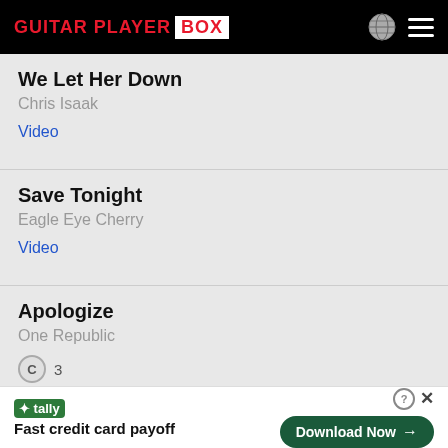Guitar Player BOX
We Let Her Down
Chris Isaak
Video
Save Tonight
Eagle Eye Cherry
Video
Apologize
One Republic
C  3
Video
tally  Fast credit card payoff  Download Now →